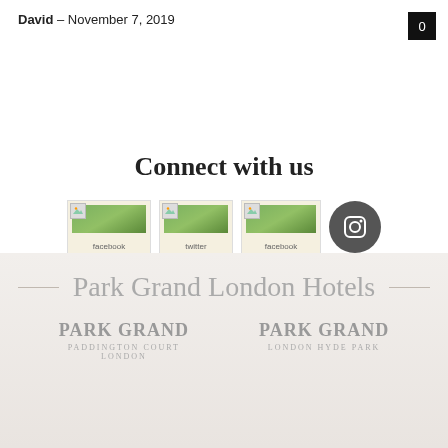David – November 7, 2019
0
Connect with us
[Figure (other): Social media icons row: three broken image placeholders (Facebook, Twitter/X, Facebook) and an Instagram circular icon]
[Figure (logo): Park Grand London Hotels footer logo section with two hotel brand logos: Park Grand Paddington Court London and Park Grand London Hyde Park]